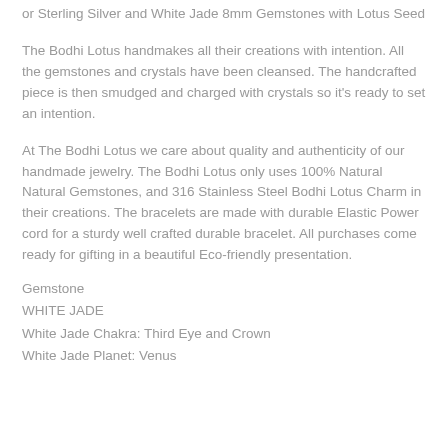or Sterling Silver and White Jade 8mm Gemstones with Lotus Seed
The Bodhi Lotus handmakes all their creations with intention. All the gemstones and crystals have been cleansed. The handcrafted piece is then smudged and charged with crystals so it's ready to set an intention.
At The Bodhi Lotus we care about quality and authenticity of our handmade jewelry. The Bodhi Lotus only uses 100% Natural Natural Gemstones, and 316 Stainless Steel Bodhi Lotus Charm in their creations. The bracelets are made with durable Elastic Power cord for a sturdy well crafted durable bracelet. All purchases come ready for gifting in a beautiful Eco-friendly presentation.
Gemstone
WHITE JADE
White Jade Chakra: Third Eye and Crown
White Jade Planet: Venus